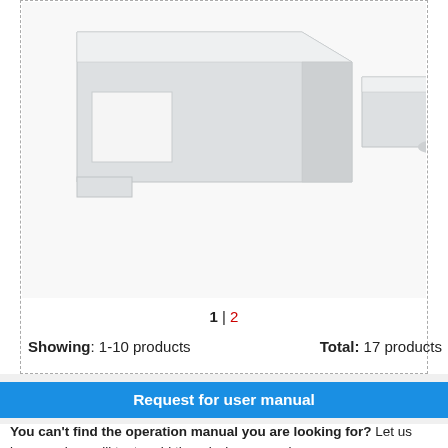[Figure (photo): Product photo showing white plastic parts/components against white background, inside a dashed border box]
1 | 2
Showing: 1-10 products    Total: 17 products
Request for user manual
You can't find the operation manual you are looking for? Let us know and we will try to add the missing manual:
I'm looking for a manual / Request for manual
Current requests for instruction manuals:
Swift stream z23 wifi camera drone...
Leupold DeltaPoint Pro Reflex Sight 2.5 MOA 119688...
KX-TGDA31EX panasonic cordless phone user manual...